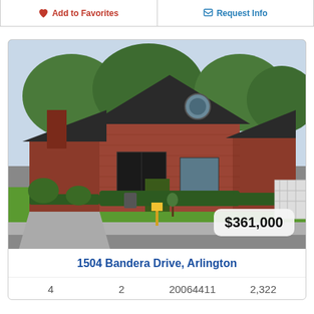Add to Favorites
Request Info
[Figure (photo): Exterior photo of a red-brick single-story home with dark roof, circular window, green lawn, and shrubs. A real estate sign is visible in the yard.]
$361,000
1504 Bandera Drive, Arlington
4    2    20064411    2,322